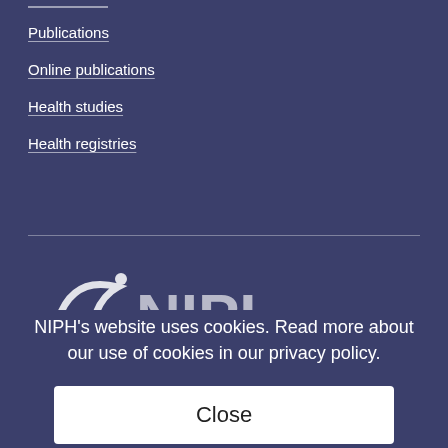Publications
Online publications
Health studies
Health registries
[Figure (logo): NIPH logo — stylized swoosh arc with dot above letter forms NIPH in large block letters]
Norwegian Institute of Public Health
NIPH's website uses cookies. Read more about our use of cookies in our privacy policy.
Close